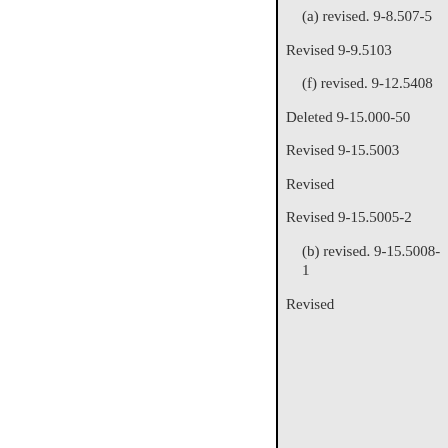(a) revised. 9-8.507-5
Revised 9-9.5103
(f) revised. 9-12.5408
Deleted 9-15.000-50
Revised 9-15.5003
Revised
Revised 9-15.5005-2
(b) revised. 9-15.5008-1
Revised